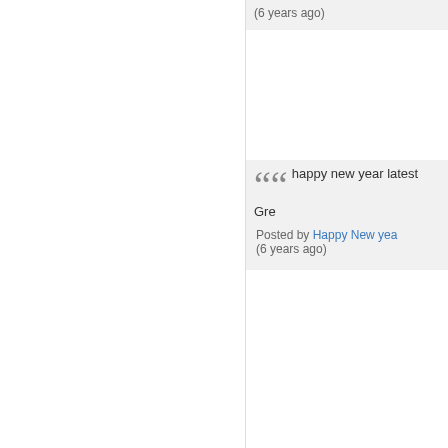(6 years ago)
happy new year latest Gre…
Posted by Happy New yea… (6 years ago)
« previous 1 2 3 4 5 6 7 8 9 10 11 1… 27 28 29 30 31 32 33 34 35 36 37 3… 53 54 55 56 57 58 59 60 61 62 63 6… 79 80 81 82 83 84 85 86 87 88 89 9… 103 104 105 106 107 108 109 110… 121 122 123 124 125 126 127 128… 139 140 141 142 143 144 145 146… 157 158 159 160 161 162 163 164… 175 176 177 178 179 180 181 182… 193 194 195 196 197 198 199 200… 211 212 213 214 215 216 217 218… 229 230 231 232 233 234 235 236… 247 248 249 250 251 252 253 254… 265 266 267 268 269 270 271 272…